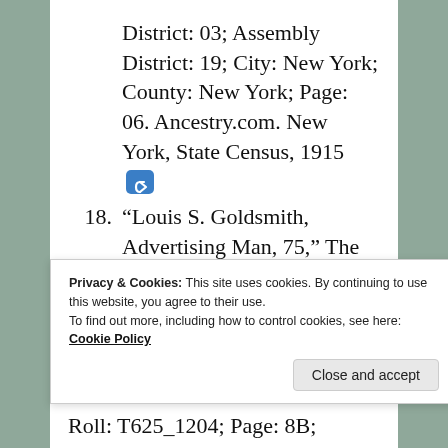District: 03; Assembly District: 19; City: New York; County: New York; Page: 06. Ancestry.com. New York, State Census, 1915 [link]
18. “Louis S. Goldsmith, Advertising Man, 75,” The New York Times, August 1, 1958. [link]
Privacy & Cookies: This site uses cookies. By continuing to use this website, you agree to their use. To find out more, including how to control cookies, see here: Cookie Policy
Roll: T625_1204; Page: 8B;